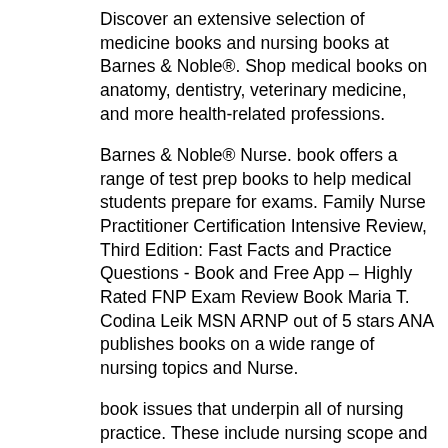Discover an extensive selection of medicine books and nursing books at Barnes & Noble®. Shop medical books on anatomy, dentistry, veterinary medicine, and more health-related professions.
Barnes & Noble® Nurse. book offers a range of test prep books to help medical students prepare for exams. Family Nurse Practitioner Certification Intensive Review, Third Edition: Fast Facts and Practice Questions - Book and Free App – Highly Rated FNP Exam Review Book Maria T. Codina Leik MSN ARNP out of 5 stars ANA publishes books on a wide range of nursing topics and Nurse.
book issues that underpin all of nursing practice. These include nursing scope and standards of practice, patient safety, ethics, care coordination, leadership, and nursing career resources that will help your guide your nursing specialty and career advancement. 50 Books Every Nurse Should Read Nursing Care Plans: Diagnoses, Interventions, and Outcomes, 7th edition by Meg Gulanick and Judith L.
: An Inner City Nursing Memoir by Carol cott's